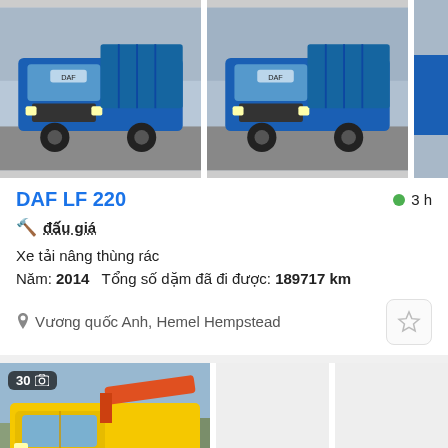[Figure (photo): Two blue DAF LF 220 garbage trucks side by side, front-facing view, with a partial third truck cropped on the right]
DAF LF 220
3 h
🔨 đấu giá
Xe tải nâng thùng rác
Năm: 2014   Tổng số dặm đã đi được: 189717 km
Vương quốc Anh, Hemel Hempstead
[Figure (photo): Yellow heavy-duty recovery/tow truck with a crane arm, 8-wheeled, parked in a yard]